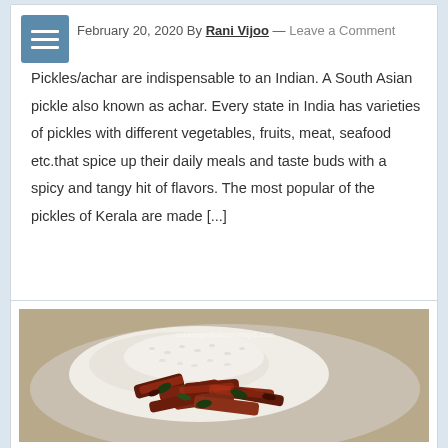February 20, 2020 By Rani Vijoo — Leave a Comment
Pickles/achar are indispensable to an Indian. A South Asian pickle also known as achar. Every state in India has varieties of pickles with different vegetables, fruits, meat, seafood etc.that spice up their daily meals and taste buds with a spicy and tangy hit of flavors. The most popular of the pickles of Kerala are made [...]
[Figure (photo): A plate of white rice topped with spicy dark-colored Kerala-style pickle/curry, garnished with curry leaves, on a grey plate. Watermark visible: 'cookingwithlaxmimagic.com']